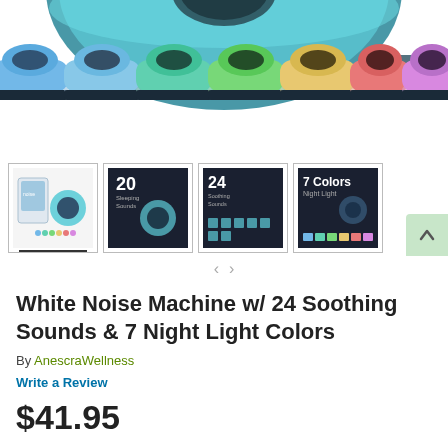[Figure (photo): Main product image showing a white noise machine speaker with colorful LED lighting in multiple colors (blue, teal, green, peach, coral, pink), displayed against a white background. A large blue/teal circular device is shown at top, with seven smaller speakers in different light colors below it.]
[Figure (photo): Thumbnail 1: Product packaging box with the white noise machine.]
[Figure (photo): Thumbnail 2: '20 Sleeping Sounds' feature card shown in dark setting.]
[Figure (photo): Thumbnail 3: '24 Soothing Sounds' feature card with sound icons.]
[Figure (photo): Thumbnail 4: '7 Colors Night Light' feature card.]
White Noise Machine w/ 24 Soothing Sounds & 7 Night Light Colors
By AnescraWellness
Write a Review
$41.95